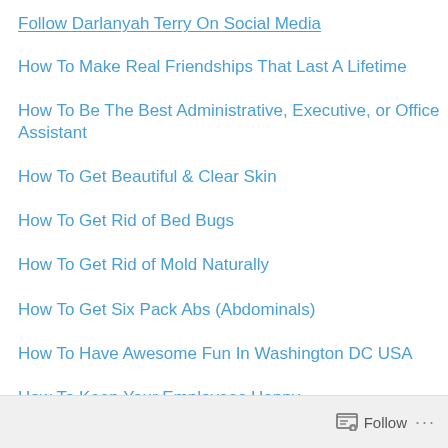Follow Darlanyah Terry On Social Media
How To Make Real Friendships That Last A Lifetime
How To Be The Best Administrative, Executive, or Office Assistant
How To Get Beautiful & Clear Skin
How To Get Rid of Bed Bugs
How To Get Rid of Mold Naturally
How To Get Six Pack Abs (Abdominals)
How To Have Awesome Fun In Washington DC USA
How To Keep Your Employees Happy
Follow ...